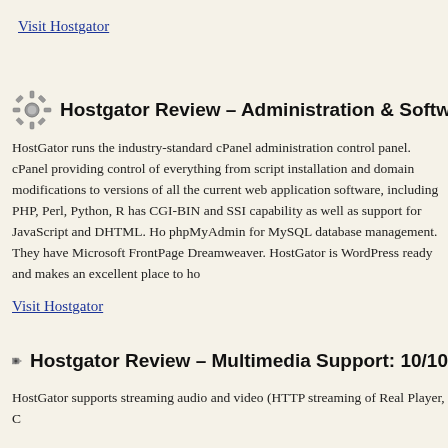Visit Hostgator
Hostgator Review – Administration & Software
HostGator runs the industry-standard cPanel administration control panel. cPanel providing control of everything from script installation and domain modifications to versions of all the current web application software, including PHP, Perl, Python, R has CGI-BIN and SSI capability as well as support for JavaScript and DHTML. Ho phpMyAdmin for MySQL database management. They have Microsoft FrontPage Dreamweaver. HostGator is WordPress ready and makes an excellent place to ho
Visit Hostgator
Hostgator Review – Multimedia Support: 10/10
HostGator supports streaming audio and video (HTTP streaming of Real Player, C